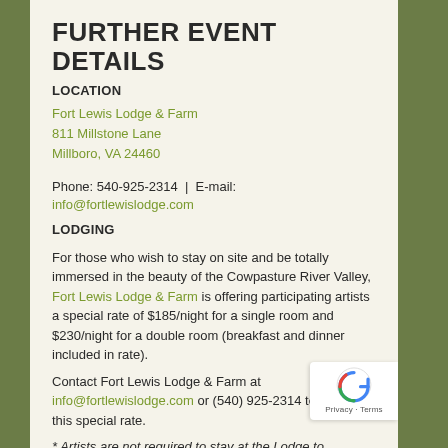FURTHER EVENT DETAILS
LOCATION
Fort Lewis Lodge & Farm
811 Millstone Lane
Millboro, VA 24460
Phone: 540-925-2314 | E-mail: info@fortlewislodge.com
LODGING
For those who wish to stay on site and be totally immersed in the beauty of the Cowpasture River Valley, Fort Lewis Lodge & Farm is offering participating artists a special rate of $185/night for a single room and $230/night for a double room (breakfast and dinner included in rate).
Contact Fort Lewis Lodge & Farm at info@fortlewislodge.com or (540) 925-2314 to book at this special rate.
* Artists are not required to stay at the Lodge to participate in event.
SAFETY REGULATIONS
For everyone's health and safety, Fort Lewis Lodge & Farm asks